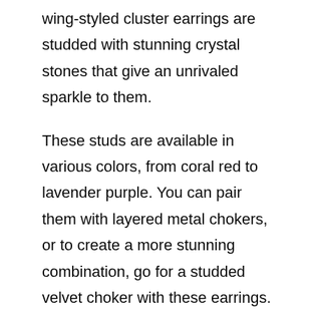wing-styled cluster earrings are studded with stunning crystal stones that give an unrivaled sparkle to them.
These studs are available in various colors, from coral red to lavender purple. You can pair them with layered metal chokers, or to create a more stunning combination, go for a studded velvet choker with these earrings.
They look more formal than a basic stud but not too showy. So these colorful cluster studs are perfect for various occasions. Read about earrings for a green dress.